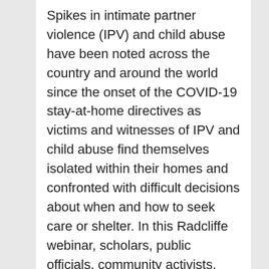Spikes in intimate partner violence (IPV) and child abuse have been noted across the country and around the world since the onset of the COVID-19 stay-at-home directives as victims and witnesses of IPV and child abuse find themselves isolated within their homes and confronted with difficult decisions about when and how to seek care or shelter. In this Radcliffe webinar, scholars, public officials, community activists, and...
Harvard Men's Volleyball vs Penn State